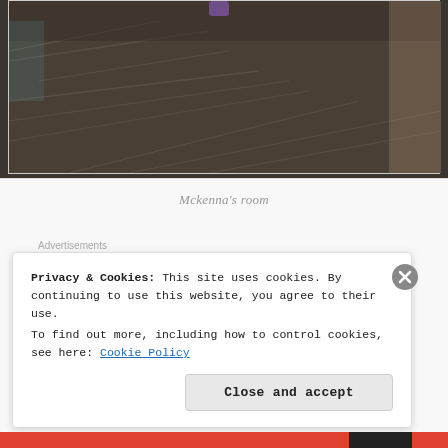[Figure (photo): A photograph showing a room's floor/carpet with a dark brownish-gray textured surface, partially cropped at top]
Mckenna's room
Advertisements
[Figure (screenshot): An advertisement banner with a blue-to-purple gradient background and white italic text]
Privacy & Cookies: This site uses cookies. By continuing to use this website, you agree to their use.
To find out more, including how to control cookies, see here: Cookie Policy
Close and accept